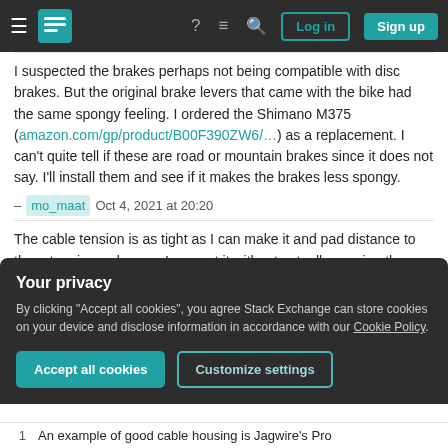Stack Exchange navigation bar with Log in and Sign up buttons
I suspected the brakes perhaps not being compatible with disc brakes. But the original brake levers that came with the bike had the same spongy feeling. I ordered the Shimano M375 (amazon.com/gp/product/B00F390ZW6/...) as a replacement. I can't quite tell if these are road or mountain brakes since it does not say. I'll install them and see if it makes the brakes less spongy.
– mo_maat Oct 4, 2021 at 20:20
The cable tension is as tight as I can make it and pad distance to the rotors is as close as I can get it without actually causing the rotors to rub. – mo_maat Oct 4,
Your privacy
By clicking "Accept all cookies", you agree Stack Exchange can store cookies on your device and disclose information in accordance with our Cookie Policy.
1. An example of good cable housing is Jagwire's Pro